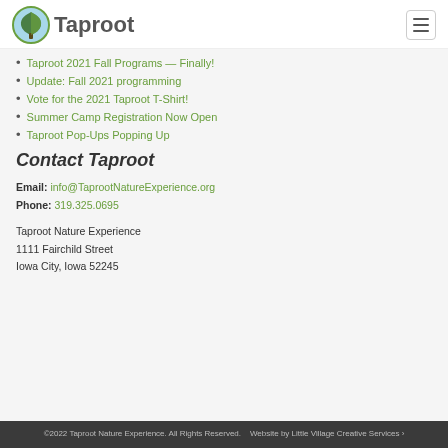Taproot
Taproot 2021 Fall Programs — Finally!
Update: Fall 2021 programming
Vote for the 2021 Taproot T-Shirt!
Summer Camp Registration Now Open
Taproot Pop-Ups Popping Up
Contact Taproot
Email: info@TaprootNatureExperience.org
Phone: 319.325.0695
Taproot Nature Experience
1111 Fairchild Street
Iowa City, Iowa 52245
©2022 Taproot Nature Experience. All Rights Reserved.    Website by Little Village Creative Services